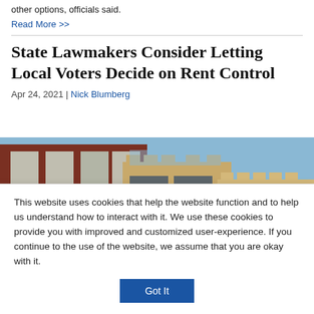other options, officials said.
Read More >>
State Lawmakers Consider Letting Local Voters Decide on Rent Control
Apr 24, 2021 | Nick Blumberg
[Figure (photo): Photograph of brick apartment buildings with multiple stories, windows, and a clear sky in the background.]
This website uses cookies that help the website function and to help us understand how to interact with it. We use these cookies to provide you with improved and customized user-experience. If you continue to the use of the website, we assume that you are okay with it.
Got It